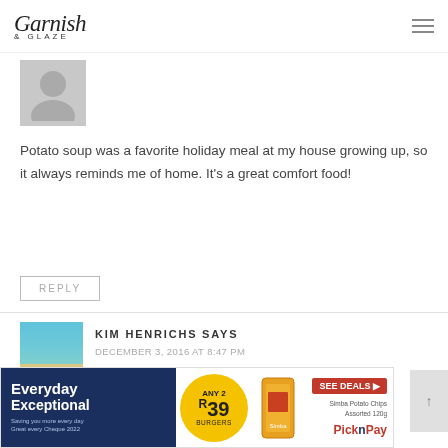Garnish & Glaze
[Figure (photo): Generic user avatar placeholder (grey silhouette)]
Potato soup was a favorite holiday meal at my house growing up, so it always reminds me of home. It's a great comfort food!
REPLY
[Figure (photo): Beach/ocean scene avatar photo]
KIM HENRICHS SAYS
DECEMBER 3, 2016 AT 8:47 PM
[Figure (other): Four yellow star rating icons]
Open for potato soup recipe and always reminds me of home
[Figure (infographic): Pick n Pay advertisement banner: Everyday Exceptional, Any 2 for R39, Simba Potato Chips Assorted 120g]